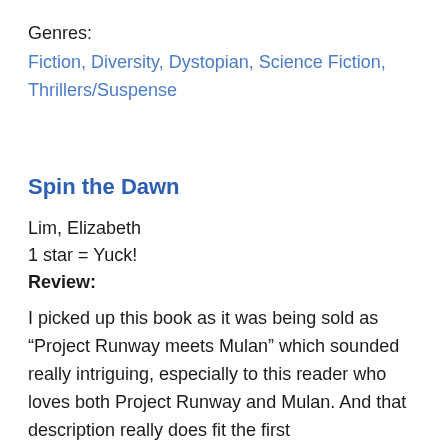Genres:
Fiction, Diversity, Dystopian, Science Fiction, Thrillers/Suspense
Spin the Dawn
Lim, Elizabeth
1 star = Yuck!
Review:
I picked up this book as it was being sold as “Project Runway meets Mulan” which sounded really intriguing, especially to this reader who loves both Project Runway and Mulan. And that description really does fit the first